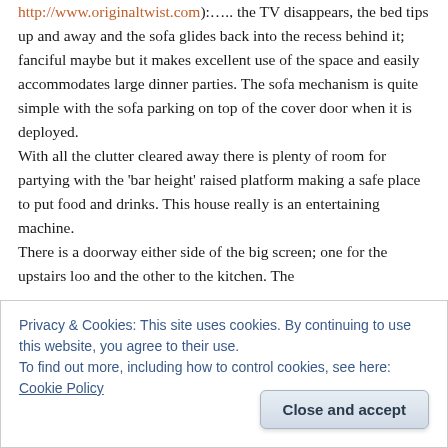http://www.originaltwist.com):….. the TV disappears, the bed tips up and away and the sofa glides back into the recess behind it; fanciful maybe but it makes excellent use of the space and easily accommodates large dinner parties. The sofa mechanism is quite simple with the sofa parking on top of the cover door when it is deployed. With all the clutter cleared away there is plenty of room for partying with the 'bar height' raised platform making a safe place to put food and drinks. This house really is an entertaining machine. There is a doorway either side of the big screen; one for the upstairs loo and the other to the kitchen. The
Privacy & Cookies: This site uses cookies. By continuing to use this website, you agree to their use.
To find out more, including how to control cookies, see here: Cookie Policy